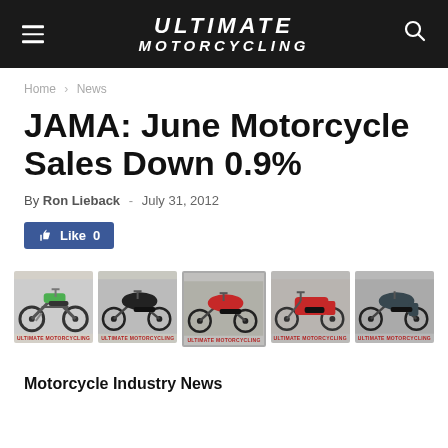Ultimate Motorcycling
Home › News
JAMA: June Motorcycle Sales Down 0.9%
By Ron Lieback - July 31, 2012
[Figure (screenshot): Facebook Like button showing 0 likes]
[Figure (photo): Strip of five motorcycle images with Ultimate Motorcycling watermarks: green dirt bike, black sport bike, red sport bike, red touring bike, dark sport tourer]
Motorcycle Industry News